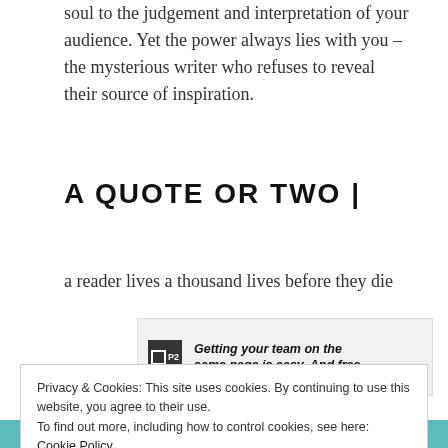soul to the judgement and interpretation of your audience. Yet the power always lies with you – the mysterious writer who refuses to reveal their source of inspiration.
A QUOTE OR TWO |
a reader lives a thousand lives before they die
[Figure (other): Advertisement banner for P2 with text: Getting your team on the same page is easy. And free.]
REPORT THIS AD
Privacy & Cookies: This site uses cookies. By continuing to use this website, you agree to their use.
To find out more, including how to control cookies, see here: Cookie Policy